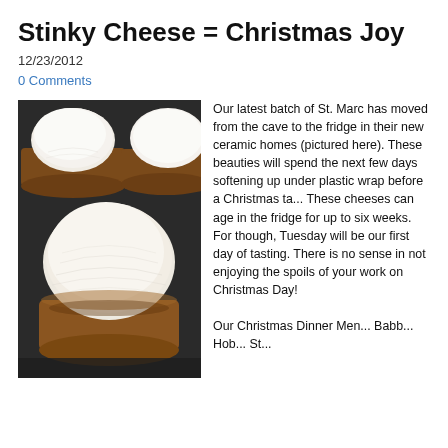Stinky Cheese = Christmas Joy
12/23/2012
0 Comments
[Figure (photo): Three white soft-rind cheeses (St. Marcellin style) in dark brown ceramic ramekins, arranged in a triangular composition on a dark surface.]
Our latest batch of St. Marc has moved from the cave to the fridge in their new ceramic homes (pictured here). These beauties will spend the next few days softening up under plastic wrap before a Christmas tasting. These cheeses can age in the fridge for up to six weeks. For now though, Tuesday will be our first day of tasting. There is no sense in not enjoying the spoils of your work on Christmas Day!

Our Christmas Dinner Men... Bablab... Hob... St...